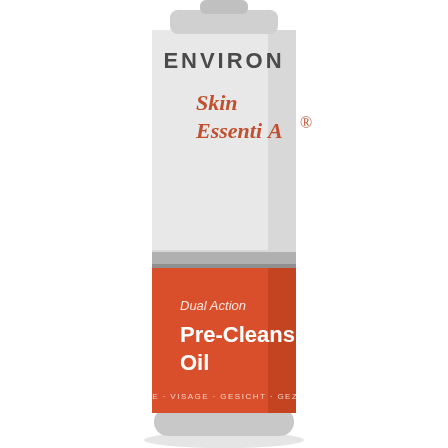[Figure (photo): Product photo of Environ Skin EssentiA Dual Action Pre-Cleansing Oil bottle. A cylindrical pump bottle with a white/grey top section showing the brand name ENVIRON and product line Skin EssentiA in grey and copper/orange text, a silver metallic band, and a large orange/red lower section with white text reading Dual Action Pre-Cleansing Oil and small text FACE · VISAGE · GESICHT · GEZINT at the bottom.]